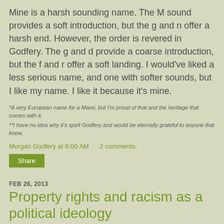Mine is a harsh sounding name. The M sound provides a soft introduction, but the g and n offer a harsh end. However, the order is revered in Godfery. The g and d provide a coarse introduction, but the f and r offer a soft landing. I would've liked a less serious name, and one with softer sounds, but I like my name. I like it because it's mine.
*A very European name for a Maori, but I'm proud of that and the heritage that comes with it.
**I have no idea why it's spelt Godfery and would be eternally grateful to anyone that knew.
Morgan Godfery at 6:00 AM    2 comments:
Share
FEB 26, 2013
Property rights and racism as a political ideology
DPF blogs (quoting from Stuff.co.nz):